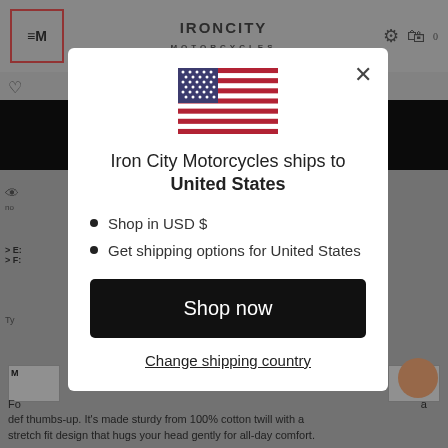[Figure (screenshot): Background of Iron City Motorcycles website page, dimmed by modal overlay]
[Figure (illustration): US flag SVG illustration centered at top of modal]
Iron City Motorcycles ships to United States
Shop in USD $
Get shipping options for United States
Shop now
Change shipping country